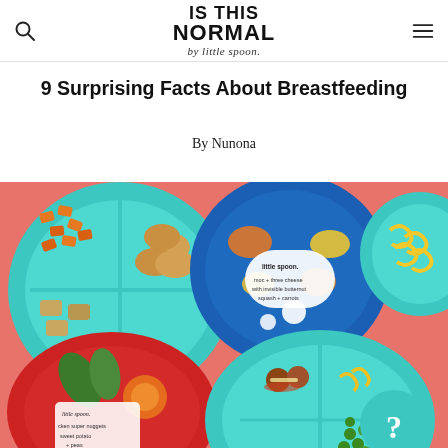IS THIS NORMAL by little spoon.
9 Surprising Facts About Breastfeeding
By Nunona
[Figure (photo): Colorful children's divided plates on a coral/salmon pink background. Plates contain various toddler foods including chicken nuggets, mac and cheese, pasta, peas, pancakes, and other items. Little Spoon branded packaging labels visible on some plates. A teal circle with a white question mark is in the lower right corner.]